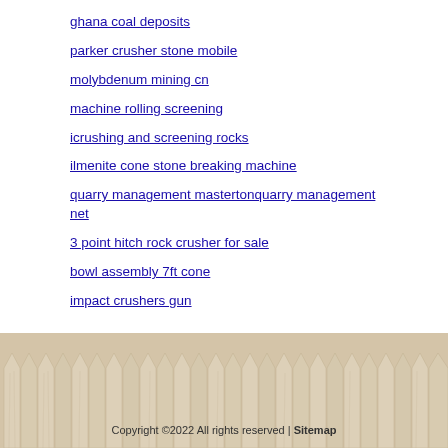ghana coal deposits
parker crusher stone mobile
molybdenum mining cn
machine rolling screening
icrushing and screening rocks
ilmenite cone stone breaking machine
quarry management mastertonquarry management net
3 point hitch rock crusher for sale
bowl assembly 7ft cone
impact crushers gun
[Figure (illustration): Wooden picket fence background image at bottom of page]
Copyright ©2022 All rights reserved | Sitemap